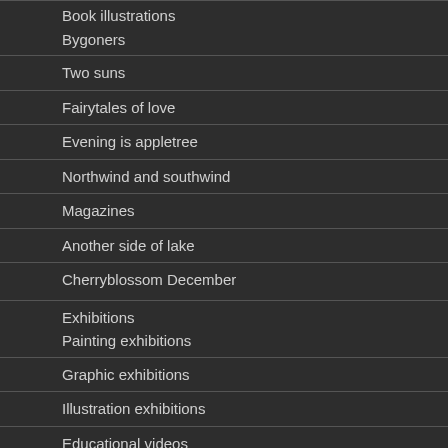Book illustrations
Bygoners
Two suns
Fairytales of love
Evening is appletree
Northwind and southwind
Magazines
Another side of lake
Cherryblossom December
Exhibitions
Painting exhibitions
Graphic exhibitions
Illustration exhibitions
Educational videos
About me